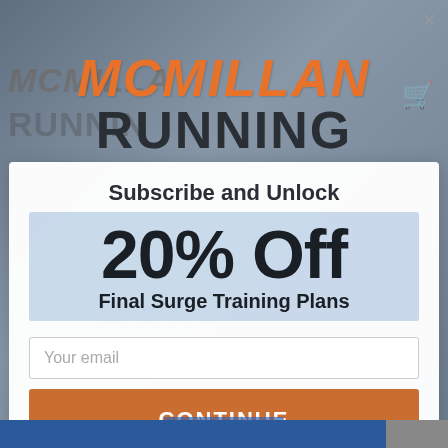[Figure (screenshot): McMillan Running website screenshot showing a subscription popup modal with logo, '20% Off Final Surge Training Plans' offer, email input field, and Continue button over a blurred background image.]
MCMILLAN RUNNING
Subscribe and Unlock
20% Off
Final Surge Training Plans
Your email
CONTINUE